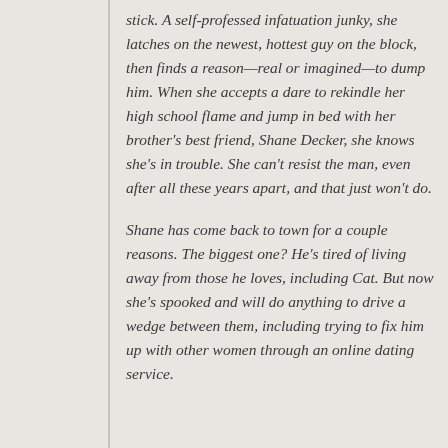stick. A self-professed infatuation junky, she latches on the newest, hottest guy on the block, then finds a reason—real or imagined—to dump him. When she accepts a dare to rekindle her high school flame and jump in bed with her brother's best friend, Shane Decker, she knows she's in trouble. She can't resist the man, even after all these years apart, and that just won't do.
Shane has come back to town for a couple reasons. The biggest one? He's tired of living away from those he loves, including Cat. But now she's spooked and will do anything to drive a wedge between them, including trying to fix him up with other women through an online dating service.